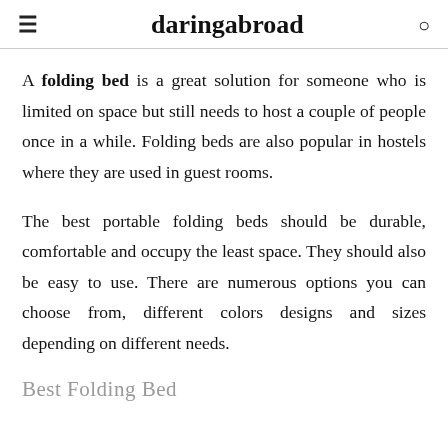daringabroad
A folding bed is a great solution for someone who is limited on space but still needs to host a couple of people once in a while. Folding beds are also popular in hostels where they are used in guest rooms.
The best portable folding beds should be durable, comfortable and occupy the least space. They should also be easy to use. There are numerous options you can choose from, different colors designs and sizes depending on different needs.
Best Folding Bed